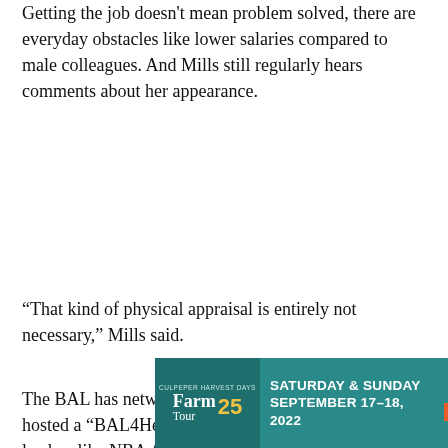Getting the job doesn't mean problem solved, there are everyday obstacles like lower salaries compared to male colleagues. And Mills still regularly hears comments about her appearance.
“That kind of physical appraisal is entirely not necessary,” Mills said.
The BAL has networking in mind, too. Last weekend, it hosted a “BAL4Her” workshop featuring female leaders like NBA Africa vice president Gbemisola Abudu and Toronto Raptors scout Sarah Chan.
[Figure (other): Advertisement for Culpeper Harvest Days Farm Tour 25th anniversary. Teal/green background. Left section shows farm tour logo with '25'. Center text reads 'SATURDAY & SUNDAY SEPTEMBER 17-18, 2022'. Right section shows '10 A.M.-5 P.M.' and an orange 'LEARN MORE' button.]